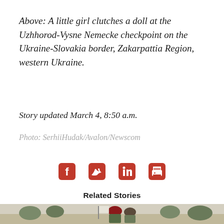Above: A little girl clutches a doll at the Uzhhorod-Vysne Nemecke checkpoint on the Ukraine-Slovakia border, Zakarpattia Region, western Ukraine.
Story updated March 4, 8:50 a.m.
Photo: SerhiiHudak/Avalon/Newscom
[Figure (infographic): Social media sharing icons: Facebook, Twitter, LinkedIn, Print — in red/orange color]
Related Stories
[Figure (photo): Photograph showing soldiers or armed figures with flags, wearing military gear including a red beret, outdoors with trees in background]